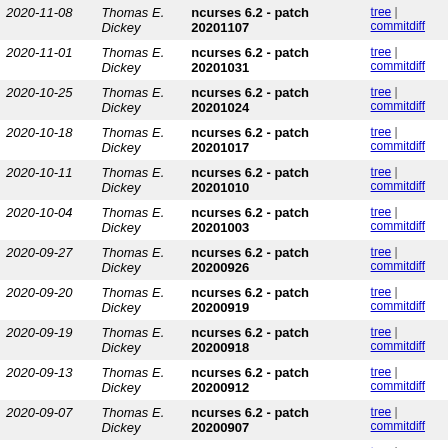| Date | Author | Commit message | Links |
| --- | --- | --- | --- |
| 2020-11-08 | Thomas E. Dickey | ncurses 6.2 - patch 20201107 | tree | commitdiff |
| 2020-11-01 | Thomas E. Dickey | ncurses 6.2 - patch 20201031 | tree | commitdiff |
| 2020-10-25 | Thomas E. Dickey | ncurses 6.2 - patch 20201024 | tree | commitdiff |
| 2020-10-18 | Thomas E. Dickey | ncurses 6.2 - patch 20201017 | tree | commitdiff |
| 2020-10-11 | Thomas E. Dickey | ncurses 6.2 - patch 20201010 | tree | commitdiff |
| 2020-10-04 | Thomas E. Dickey | ncurses 6.2 - patch 20201003 | tree | commitdiff |
| 2020-09-27 | Thomas E. Dickey | ncurses 6.2 - patch 20200926 | tree | commitdiff |
| 2020-09-20 | Thomas E. Dickey | ncurses 6.2 - patch 20200919 | tree | commitdiff |
| 2020-09-19 | Thomas E. Dickey | ncurses 6.2 - patch 20200918 | tree | commitdiff |
| 2020-09-13 | Thomas E. Dickey | ncurses 6.2 - patch 20200912 | tree | commitdiff |
| 2020-09-07 | Thomas E. Dickey | ncurses 6.2 - patch 20200907 | tree | commitdiff |
| 2020-09-06 | Thomas E. Dickey | ncurses 6.2 - patch 20200906 | tree | commitdiff |
| 2020-09-01 | Thomas E. Dickey | ncurses 6.2 - patch 20200831 | tree | commitdiff |